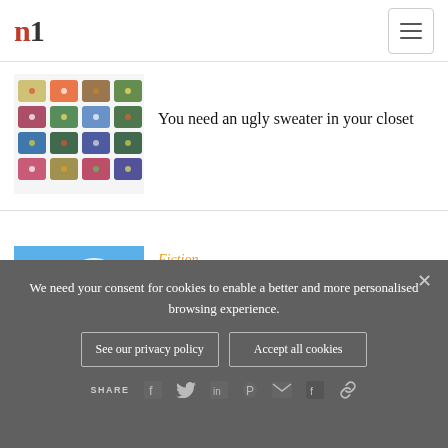n (logo) + hamburger menu
[Figure (illustration): Grid of colorful ugly Christmas sweaters in various patterns and colors]
You need an ugly sweater in your closet
Fiction
[Figure (illustration): Woman in red dress standing in shallow ocean water with blue sky and clouds]
Or Not to Wed
We need your consent for cookies to enable a better and more personalised browsing experience.
See our privacy policy
Accept all cookies
SHARE